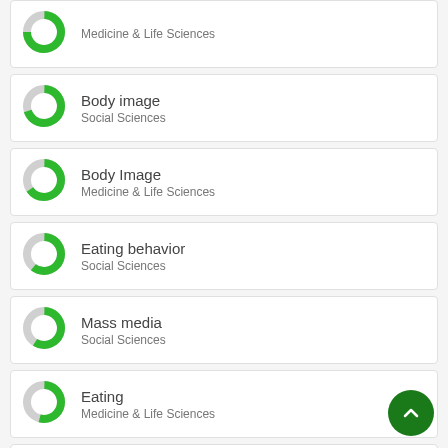Medicine & Life Sciences
Body image
Social Sciences
Body Image
Medicine & Life Sciences
Eating behavior
Social Sciences
Mass media
Social Sciences
Eating
Medicine & Life Sciences
Beauty
Medicine & Life Sciences